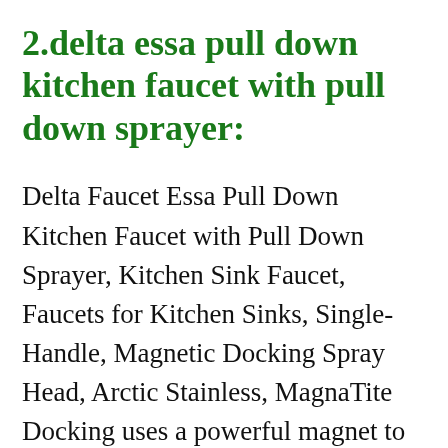2.delta essa pull down kitchen faucet with pull down sprayer:
Delta Faucet Essa Pull Down Kitchen Faucet with Pull Down Sprayer, Kitchen Sink Faucet, Faucets for Kitchen Sinks, Single-Handle, Magnetic Docking Spray Head, Arctic Stainless, MagnaTite Docking uses a powerful magnet to snap your kitchen sprayer into place so it stays docked and doesn't droop over time like other kitchen faucets.